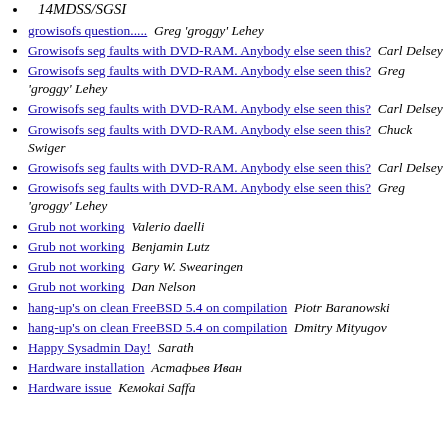14MDSS/SGSI
growisofs question.....   Greg 'groggy' Lehey
Growisofs seg faults with DVD-RAM. Anybody else seen this?   Carl Delsey
Growisofs seg faults with DVD-RAM. Anybody else seen this?   Greg 'groggy' Lehey
Growisofs seg faults with DVD-RAM. Anybody else seen this?   Carl Delsey
Growisofs seg faults with DVD-RAM. Anybody else seen this?   Chuck Swiger
Growisofs seg faults with DVD-RAM. Anybody else seen this?   Carl Delsey
Growisofs seg faults with DVD-RAM. Anybody else seen this?   Greg 'groggy' Lehey
Grub not working   Valerio daelli
Grub not working   Benjamin Lutz
Grub not working   Gary W. Swearingen
Grub not working   Dan Nelson
hang-up's on clean FreeBSD 5.4 on compilation   Piotr Baranowski
hang-up's on clean FreeBSD 5.4 on compilation   Dmitry Mityugov
Happy Sysadmin Day!   Sarath
Hardware installation   Астафьев Иван
Hardware issue   Кемоkai Saffa